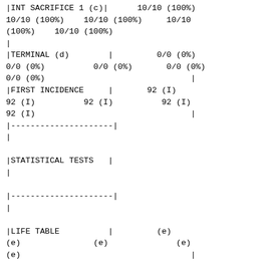| |INT SACRIFICE 1 (c)| | 10/10 (100%) | 10/10 (100%) | 10/10 (100%) | 10/10 (100%) | 10/10 (100%) |
| | |  |  |  |  |  |
| |TERMINAL (d) | | | 0/0 (0%) | 0/0 (0%) | 0/0 (0%) | 0/0 (0%) | 0/0 (0%) | | |
| |FIRST INCIDENCE | | | 92 (I) | 92 (I) | 92 (I) | 92 (I) | 92 (I) | | |
| |---------------------| |  |  |  |  |  |
| | |  |  |  |  |  |
| |STATISTICAL TESTS | | |  |  |  |  |
| | |  |  |  |  |  |
| |---------------------| |  |  |  |  |  |
| | |  |  |  |  |  |
| |LIFE TABLE | | | (e) | (e) | (e) | (e) | (e) | | |